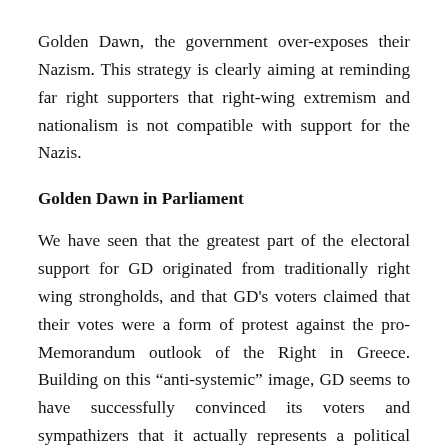Golden Dawn, the government over-exposes their Nazism. This strategy is clearly aiming at reminding far right supporters that right-wing extremism and nationalism is not compatible with support for the Nazis.
Golden Dawn in Parliament
We have seen that the greatest part of the electoral support for GD originated from traditionally right wing strongholds, and that GD's voters claimed that their votes were a form of protest against the pro-Memorandum outlook of the Right in Greece. Building on this “anti-systemic” image, GD seems to have successfully convinced its voters and sympathizers that it actually represents a political force that resists the austerity measures. Of course, for anyone with a